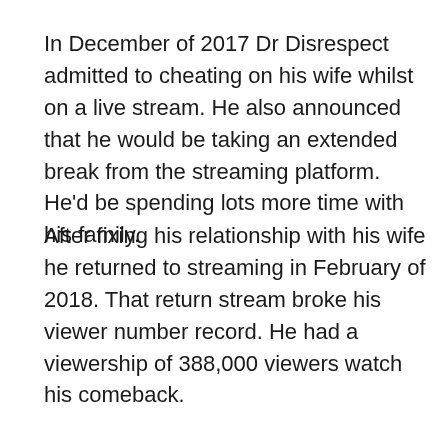……
In December of 2017 Dr Disrespect admitted to cheating on his wife whilst on a live stream. He also announced that he would be taking an extended break from the streaming platform. He'd be spending lots more time with his family.
After fixing his relationship with his wife he returned to streaming in February of 2018. That return stream broke his viewer number record. He had a viewership of 388,000 viewers watch his comeback.